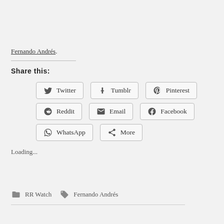Fernando Andrés.
Share this:
Twitter
Tumblr
Pinterest
Reddit
Email
Facebook
WhatsApp
More
Loading...
RR Watch   Fernando Andrés